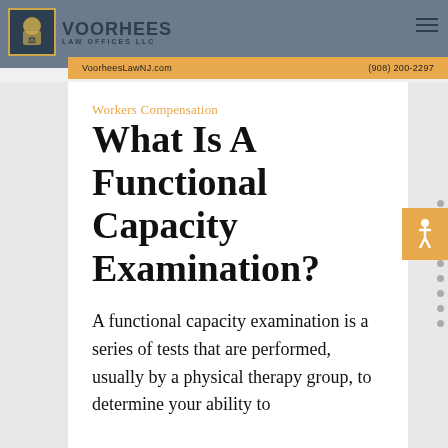Voorhees Law Offices LLC — VoorheesLawNJ.com — (908) 200-2297
Workers Compensation
What Is A Functional Capacity Examination?
A functional capacity examination is a series of tests that are performed, usually by a physical therapy group, to determine your ability to